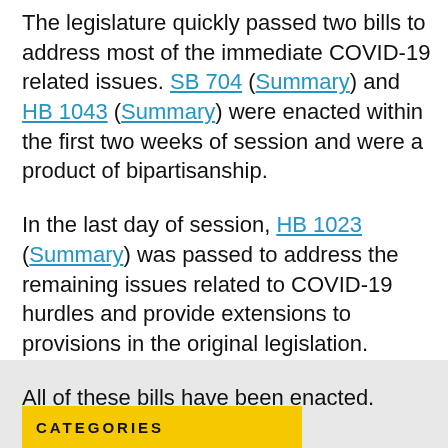The legislature quickly passed two bills to address most of the immediate COVID-19 related issues. SB 704 (Summary) and HB 1043 (Summary) were enacted within the first two weeks of session and were a product of bipartisanship.
In the last day of session, HB 1023 (Summary) was passed to address the remaining issues related to COVID-19 hurdles and provide extensions to provisions in the original legislation.
All of these bills have been enacted.
CATEGORIES